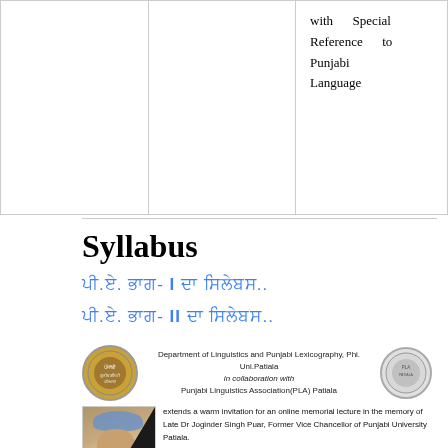|  |  |  |
| --- | --- | --- |
|  |  | with Special Reference to Punjabi Language |
Syllabus
ਪੀ.ਏ. ਭਾਗ- I ਦਾ ਸਿਲੇਬਸ..
ਪੀ.ਏ. ਭਾਗ- II ਦਾ ਸਿਲੇਬਸ..
[Figure (infographic): Department of Linguistics and Punjabi Lexicography, Phi. Uni.Patiala in collaboration with Punjabi Linguistics Association(PLA) Patiala. Extends a warm invitation for an online memorial lecture in the memory of Late Dr Joginder Singh Puar, Former Vice Chancellor of Punjabi University Patiala. Topic - Issues in Designing a Digital Dictionary for Digital India. Guest Speaker: Dr Niladri Sekhar Dash]